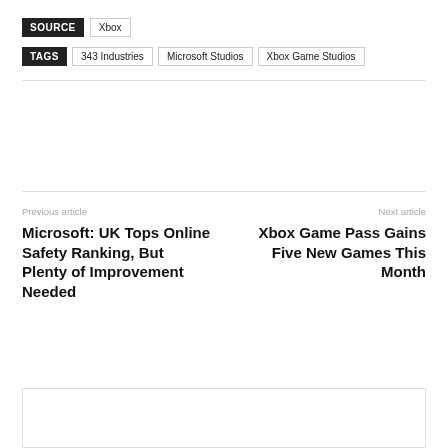SOURCE  Xbox
TAGS  343 Industries  Microsoft Studios  Xbox Game Studios
Previous article
Microsoft: UK Tops Online Safety Ranking, But Plenty of Improvement Needed
Next article
Xbox Game Pass Gains Five New Games This Month